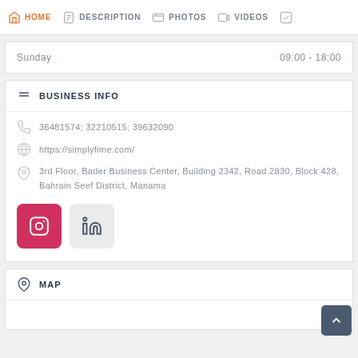HOME  DESCRIPTION  PHOTOS  VIDEOS
Sunday    09:00 - 18:00
BUSINESS INFO
36481574; 32210515; 39632090
https://simplyfime.com/
3rd Floor, Bader Business Center, Building 2342, Road 2830, Block 428, Bahrain Seef District, Manama
[Figure (illustration): Instagram and LinkedIn social media buttons]
MAP